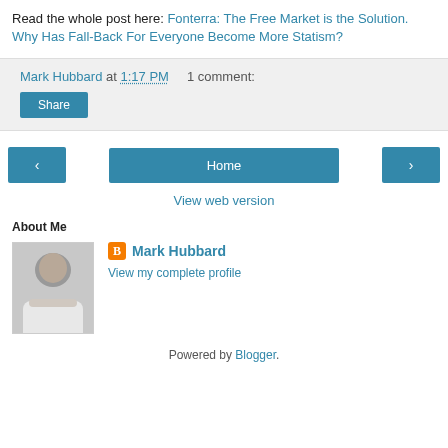Read the whole post here: Fonterra: The Free Market is the Solution. Why Has Fall-Back For Everyone Become More Statism?
Mark Hubbard at 1:17 PM   1 comment:
Share
‹   Home   ›
View web version
About Me
Mark Hubbard
View my complete profile
Powered by Blogger.